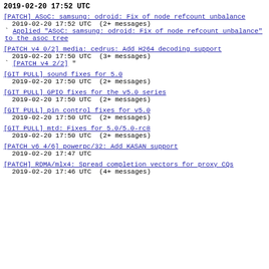2019-02-20 17:52 UTC
[PATCH] ASoC: samsung: odroid: Fix of node refcount unbalance
  2019-02-20 17:52 UTC  (2+ messages)
` Applied "ASoC: samsung: odroid: Fix of node refcount unbalance" to the asoc tree
[PATCH v4 0/2] media: cedrus: Add H264 decoding support
  2019-02-20 17:50 UTC  (3+ messages)
` [PATCH v4 2/2] "
[GIT PULL] sound fixes for 5.0
  2019-02-20 17:50 UTC  (2+ messages)
[GIT PULL] GPIO fixes for the v5.0 series
  2019-02-20 17:50 UTC  (2+ messages)
[GIT PULL] pin control fixes for v5.0
  2019-02-20 17:50 UTC  (2+ messages)
[GIT PULL] mtd: Fixes for 5.0/5.0-rc8
  2019-02-20 17:50 UTC  (2+ messages)
[PATCH v6 4/6] powerpc/32: Add KASAN support
  2019-02-20 17:47 UTC
[PATCH] RDMA/mlx4: Spread completion vectors for proxy CQs
  2019-02-20 17:46 UTC  (4+ messages)